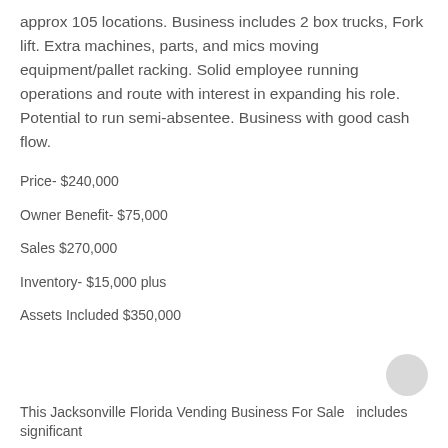approx 105 locations. Business includes 2 box trucks, Fork lift. Extra machines, parts, and mics moving equipment/pallet racking. Solid employee running operations and route with interest in expanding his role. Potential to run semi-absentee. Business with good cash flow.
Price- $240,000
Owner Benefit- $75,000
Sales $270,000
Inventory- $15,000 plus
Assets Included $350,000
This Jacksonville Florida Vending Business For Sale  includes significant